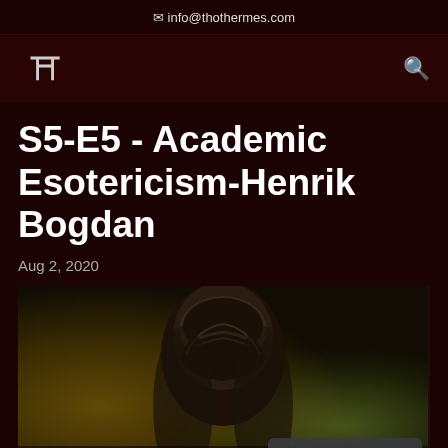info@thothermes.com
[Figure (logo): Thoth Hermes podcast logo — ornate TH monogram]
S5-E5 - Academic Esotericism-Henrik Bogdan
Aug 2, 2020
[Figure (photo): Back of a man's head with dark slicked-back hair against a blurred warm/golden background]
Send Voicemail